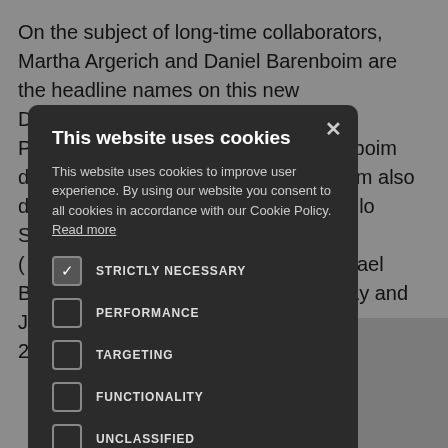On the subject of long-time collaborators, Martha Argerich and Daniel Barenboim are the headline names on this new D[...] ebussy's P[...] enboim d[...] boim also d[...] Cello Sonata ([...] Michael B[...] May and June 2[...]
[Figure (screenshot): Cookie consent modal dialog with dark background. Title: 'This website uses cookies'. Body text: 'This website uses cookies to improve user experience. By using our website you consent to all cookies in accordance with our Cookie Policy. Read more'. Checkboxes: STRICTLY NECESSARY (checked), PERFORMANCE (unchecked), TARGETING (unchecked), FUNCTIONALITY (unchecked), UNCLASSIFIED (unchecked). Buttons: ACCEPT ALL (green), DECLINE ALL (outline). Footer: gear icon + SHOW DETAILS.]